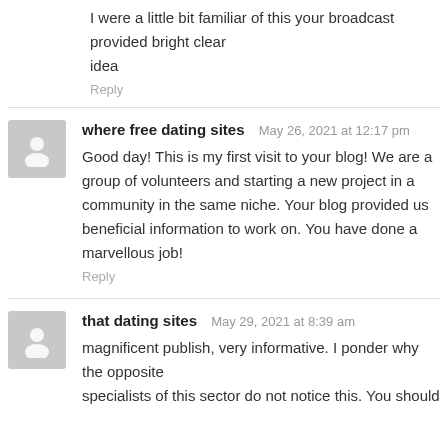I were a little bit familiar of this your broadcast provided bright clear idea
Reply
where free dating sites   May 26, 2021 at 12:17 pm
Good day! This is my first visit to your blog! We are a group of volunteers and starting a new project in a community in the same niche. Your blog provided us beneficial information to work on. You have done a marvellous job!
Reply
that dating sites   May 29, 2021 at 8:39 am
magnificent publish, very informative. I ponder why the opposite specialists of this sector do not notice this. You should